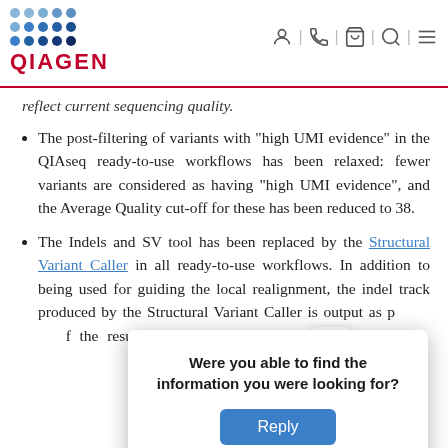QIAGEN
reflect current sequencing quality.
The post-filtering of variants with “high UMI evidence” in the QIAseq ready-to-use workflows has been relaxed: fewer variants are considered as having “high UMI evidence”, and the Average Quality cut-off for these has been reduced to 38.
The Indels and SV tool has been replaced by the Structural Variant Caller in all ready-to-use workflows. In addition to being used for guiding the local realignment, the indel track produced by the Structural Variant Caller is output as p[art of the] result[s for] DNA workf[lows along] long indel[s and] gene[...]
Were you able to find the information you were looking for? [Reply button]